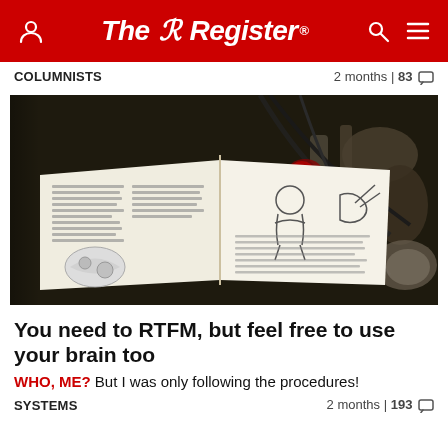The Register
COLUMNISTS   2 months | 83
[Figure (photo): An open technical/repair manual showing diagrams and text, placed in front of a cluttered engine bay with tools and mechanical parts visible in the background.]
You need to RTFM, but feel free to use your brain too
WHO, ME? But I was only following the procedures!
SYSTEMS   2 months | 193